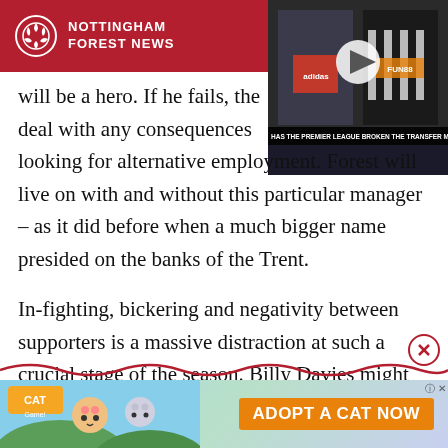NOTTINGHAM FOREST NEWS
[Figure (screenshot): Video thumbnail showing two footballers holding jerseys, with caption 'Has The Premier League Broken The Transfer Market?' and a play button overlay]
will be a hero. If he fails, the deal with any consequences looking for alternative employment. Forest will live on with and without this particular manager – as it did before when a much bigger name presided on the banks of the Trent.
In-fighting, bickering and negativity between supporters is a massive distraction at such a crucial stage of the season. Billy Davies might shoulder some of the blame this has happened, but to me
[Figure (screenshot): Advertisement banner: 'Cat Game' mobile game ad with cartoon cats and 'Adopt A Cat Now' call to action button]